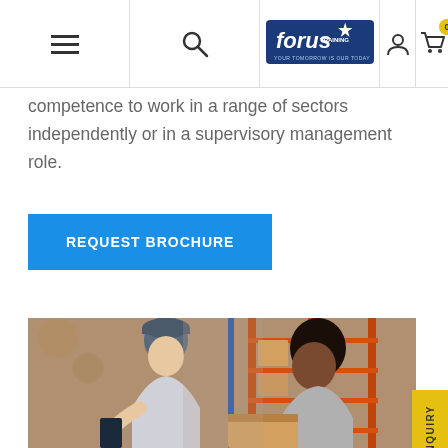Forus Training – Navigation bar with menu, search, logo, user account, and cart (0 items)
competence to work in a range of sectors independently or in a supervisory management role.
REQUEST BROCHURE
[Figure (photo): Two women working in a warehouse with shelving and boxes. One wears a cap and holds a tablet/scanner, scanning a box being opened by the other.]
QUICK ENQUIRY